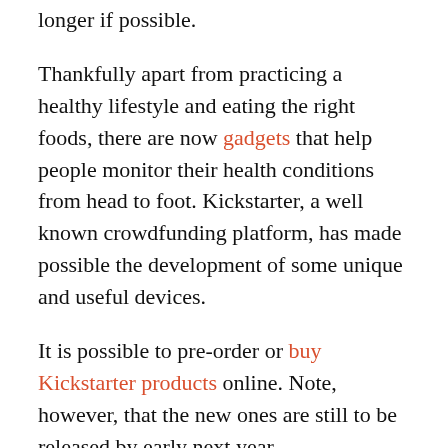longer if possible.
Thankfully apart from practicing a healthy lifestyle and eating the right foods, there are now gadgets that help people monitor their health conditions from head to foot. Kickstarter, a well known crowdfunding platform, has made possible the development of some unique and useful devices.
It is possible to pre-order or buy Kickstarter products online. Note, however, that the new ones are still to be released by early next year.
HEXOSKIN
[Figure (photo): Partial photo of a person wearing a Hexoskin smart shirt, cropped at bottom of page]